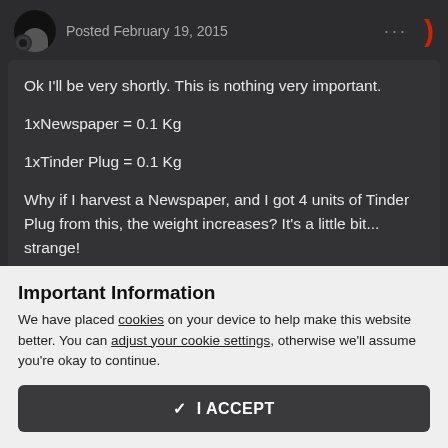Posted February 19, 2015
Ok I'll be very shortly. This is nothing very important.
1xNewspaper = 0.1 Kg
1xTinder Plug = 0.1 Kg
Why if I harvest a Newspaper, and I got 4 units of Tinder Plug from this, the weight increases? It's a little bit... strange!
My two possible solutions:
Important Information
We have placed cookies on your device to help make this website better. You can adjust your cookie settings, otherwise we'll assume you're okay to continue.
✓  I ACCEPT